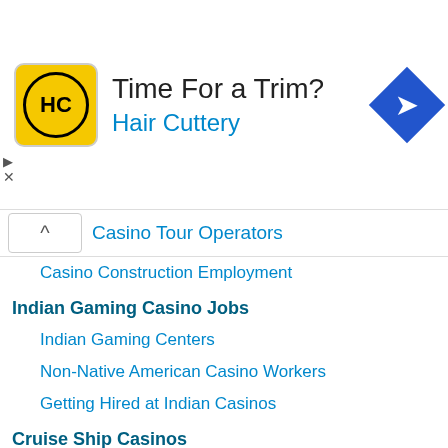[Figure (other): Hair Cuttery advertisement banner with yellow HC logo, text 'Time For a Trim?' and 'Hair Cuttery', and a blue navigation diamond icon]
Casino Tour Operators
Casino Construction Employment
Indian Gaming Casino Jobs
Indian Gaming Centers
Non-Native American Casino Workers
Getting Hired at Indian Casinos
Cruise Ship Casinos
Cruise Line Casino Companies
Riverboat Casino Jobs
Land vs. Ship Casinos
The Growth of Riverboat Casino Gambling
Riverboat Casino Jobs
Developing your Qualifications for a Casino Industry Job
Casino Dealer Schools
The Dealer Audition